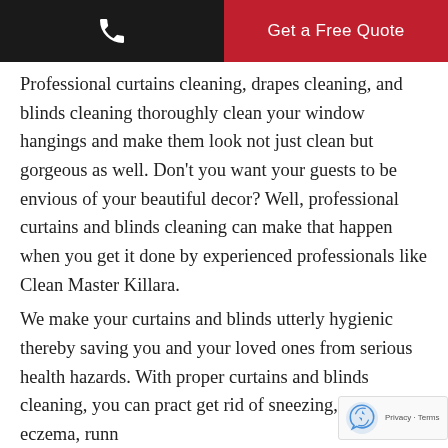Get a Free Quote
Professional curtains cleaning, drapes cleaning, and blinds cleaning thoroughly clean your window hangings and make them look not just clean but gorgeous as well. Don't you want your guests to be envious of your beautiful decor? Well, professional curtains and blinds cleaning can make that happen when you get it done by experienced professionals like Clean Master Killara.
We make your curtains and blinds utterly hygienic thereby saving you and your loved ones from serious health hazards. With proper curtains and blinds cleaning, you can pract get rid of sneezing, coughing, eczema, runn